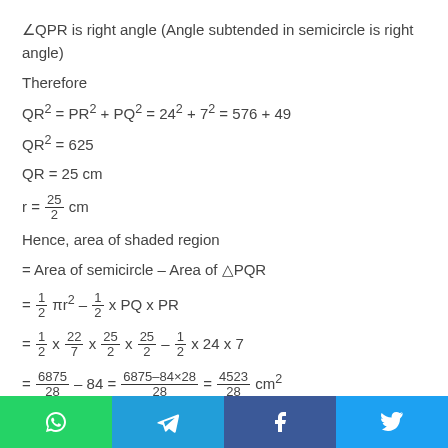∠QPR is right angle (Angle subtended in semicircle is right angle)
Therefore
Hence, area of shaded region
Hence, area of shaded region is cm².